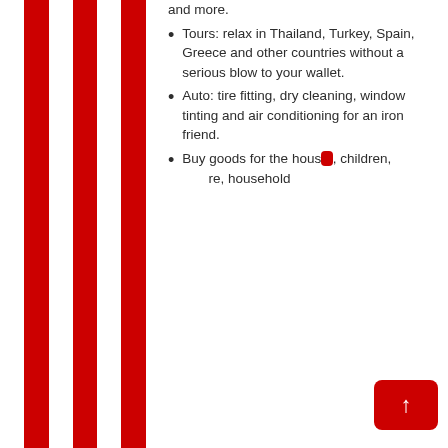and more.
Tours: relax in Thailand, Turkey, Spain, Greece and other countries without a serious blow to your wallet.
Auto: tire fitting, dry cleaning, window tinting and air conditioning for an iron friend.
Buy goods for the house, children, furniture, household